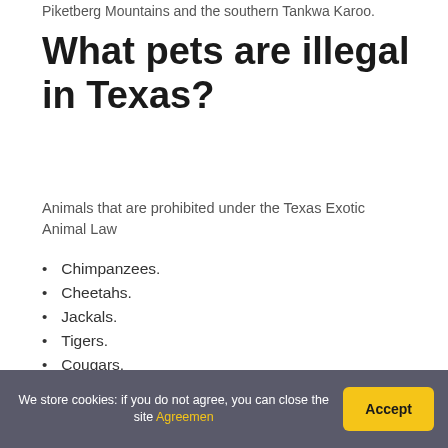Piketberg Mountains and the southern Tankwa Karoo.
What pets are illegal in Texas?
Animals that are prohibited under the Texas Exotic Animal Law
Chimpanzees.
Cheetahs.
Jackals.
Tigers.
Cougars.
Lynx.
Baboons.
Gorillas.
We store cookies: if you do not agree, you can close the site Agreemen  Accept